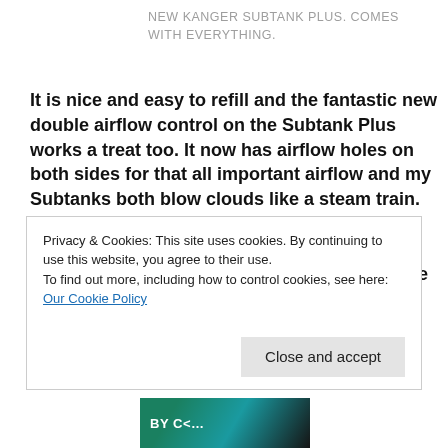NEW KANGER SUBTANK PLUS. COMES WITH EVERYTHING.
It is nice and easy to refill and the fantastic new double airflow control on the Subtank Plus works a treat too. It now has airflow holes on both sides for that all important airflow and my Subtanks both blow clouds like a steam train. So much so that I have to turn away from my screen as I am writing this when I take a puff unless I want to wait for the fog to clear before restarting my post. Kinda reminds me of that
Privacy & Cookies: This site uses cookies. By continuing to use this website, you agree to their use.
To find out more, including how to control cookies, see here: Our Cookie Policy
Close and accept
[Figure (photo): Partial image of a vaping product, colorful packaging with text BY CE visible]